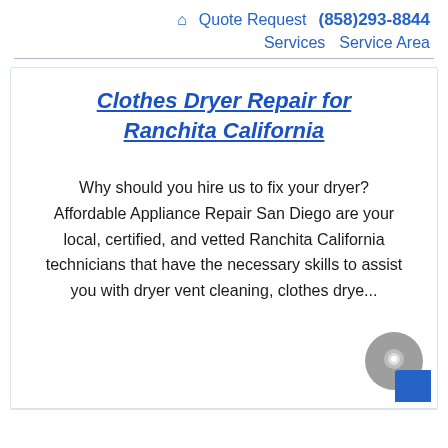🏠 Quote Request  (858)293-8844  Services  Service Area
Clothes Dryer Repair for Ranchita California
Why should you hire us to fix your dryer? Affordable Appliance Repair San Diego are your local, certified, and vetted Ranchita California technicians that have the necessary skills to assist you with dryer vent cleaning, clothes drye...